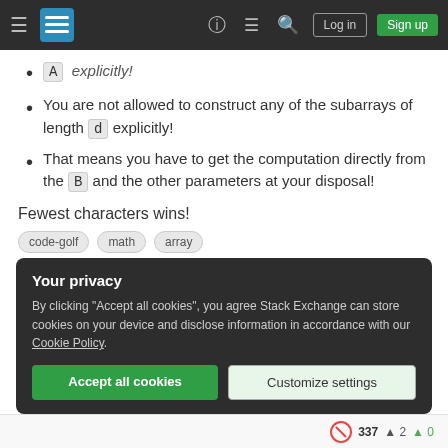Stack Exchange navigation bar with hamburger menu, logo, help, chat, search, Log in, Sign up
A explicitly!
You are not allowed to construct any of the subarrays of length d explicitly!
That means you have to get the computation directly from the B and the other parameters at your disposal!
Fewest characters wins!
code-golf  math  array
Your privacy
By clicking "Accept all cookies", you agree Stack Exchange can store cookies on your device and disclose information in accordance with our Cookie Policy.
Accept all cookies  Customize settings